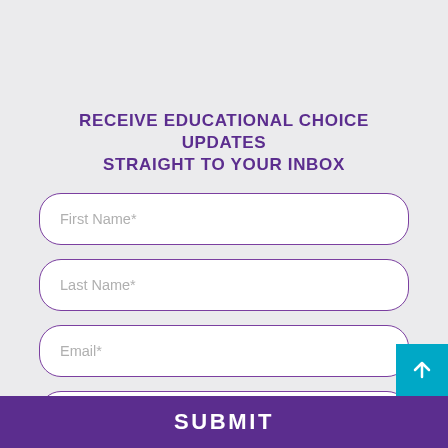RECEIVE EDUCATIONAL CHOICE UPDATES STRAIGHT TO YOUR INBOX
First Name*
Last Name*
Email*
Zip Code*
SUBMIT